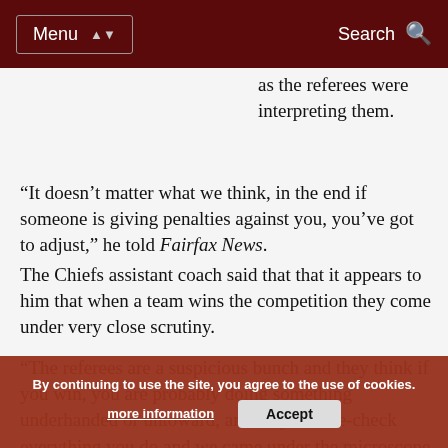Menu | Search
as the referees were interpreting them.
“It doesn’t matter what we think, in the end if someone is giving penalties against you, you've got to adjust,” he told Fairfax News.
The Chiefs assistant coach said that that it appears to him that when a team wins the competition they come under very close scrutiny.
“The referees are a suspicious bunch and they think if you win, you are probably doing something underhanded or untoward, and they double-check everything you do and we came under the microscope because of that.”
The Chiefs coaching staff then identified, analysing the details that they needed to change, effectively to adapt their game and their training to stay ahead of the chasing pack.
By continuing to use the site, you agree to the use of cookies. more information | Accept